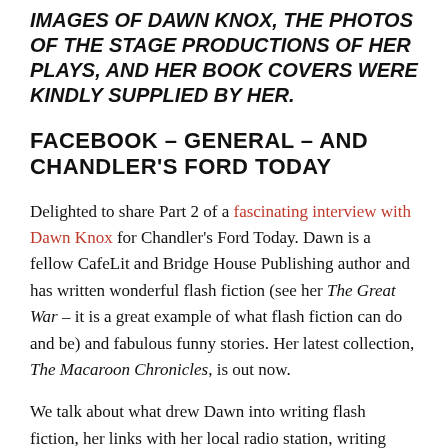IMAGES OF DAWN KNOX, THE PHOTOS OF THE STAGE PRODUCTIONS OF HER PLAYS, AND HER BOOK COVERS WERE KINDLY SUPPLIED BY HER.
FACEBOOK – GENERAL – AND CHANDLER'S FORD TODAY
Delighted to share Part 2 of a fascinating interview with Dawn Knox for Chandler's Ford Today. Dawn is a fellow CafeLit and Bridge House Publishing author and has written wonderful flash fiction (see her The Great War – it is a great example of what flash fiction can do and be) and fabulous funny stories. Her latest collection, The Macaroon Chronicles, is out now.
We talk about what drew Dawn into writing flash fiction, her links with her local radio station, writing routines, how she